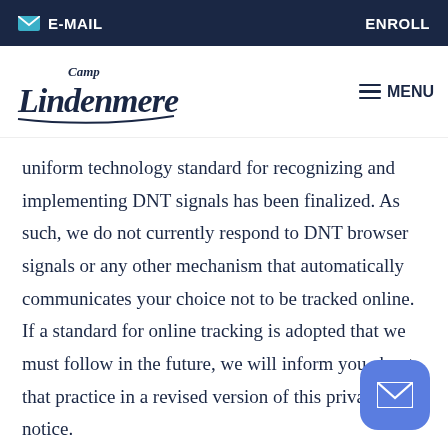E-MAIL   ENROLL
[Figure (logo): Camp Lindenmere cursive logo in dark navy blue]
uniform technology standard for recognizing and implementing DNT signals has been finalized. As such, we do not currently respond to DNT browser signals or any other mechanism that automatically communicates your choice not to be tracked online. If a standard for online tracking is adopted that we must follow in the future, we will inform you about that practice in a revised version of this privacy notice.